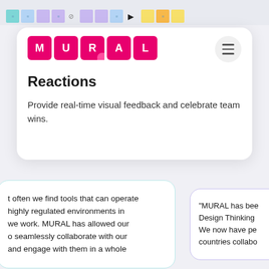[Figure (screenshot): Top strip showing a MURAL collaborative whiteboard with colorful sticky notes in blue, purple, yellow, and orange]
[Figure (logo): MURAL logo — five pink/magenta square tiles each containing a letter: M, U, R, A, L in white bold text]
Reactions
Provide real-time visual feedback and celebrate team wins.
t often we find tools that can operate highly regulated environments in we work. MURAL has allowed our o seamlessly collaborate with our and engage with them in a whole
"MURAL has bee Design Thinking We now have pe countries collabo